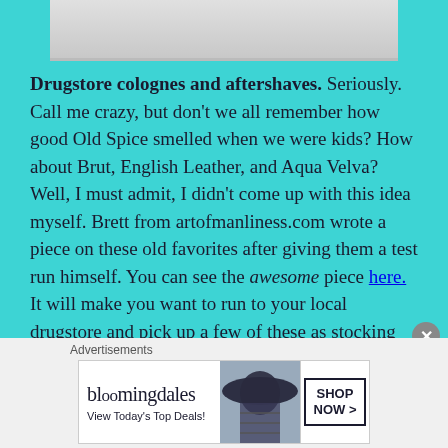[Figure (photo): Top portion of an image, partially cut off, showing a light-colored object on white background]
Drugstore colognes and aftershaves. Seriously. Call me crazy, but don't we all remember how good Old Spice smelled when we were kids? How about Brut, English Leather, and Aqua Velva? Well, I must admit, I didn't come up with this idea myself. Brett from artofmanliness.com wrote a piece on these old favorites after giving them a test run himself. You can see the awesome piece here. It will make you want to run to your local drugstore and pick up a few of these as stocking stuffers for the men in your lives. It also makes me want to find Joe Namath and find out if he still wears Brut!
Advertisements
[Figure (other): Bloomingdale's advertisement banner: 'View Today's Top Deals!' with SHOP NOW > button and image of woman in wide-brim hat]